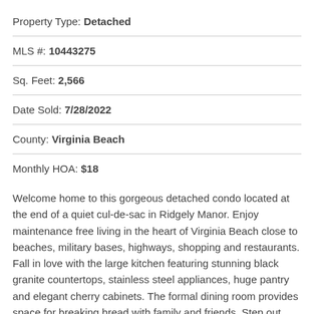Property Type: Detached
MLS #: 10443275
Sq. Feet: 2,566
Date Sold: 7/28/2022
County: Virginia Beach
Monthly HOA: $18
Welcome home to this gorgeous detached condo located at the end of a quiet cul-de-sac in Ridgely Manor. Enjoy maintenance free living in the heart of Virginia Beach close to beaches, military bases, highways, shopping and restaurants. Fall in love with the large kitchen featuring stunning black granite countertops, stainless steel appliances, huge pantry and elegant cherry cabinets. The formal dining room provides space for breaking bread with family and friends. Step out onto your private patio and enjoy your hot tub too! Upstairs you'll